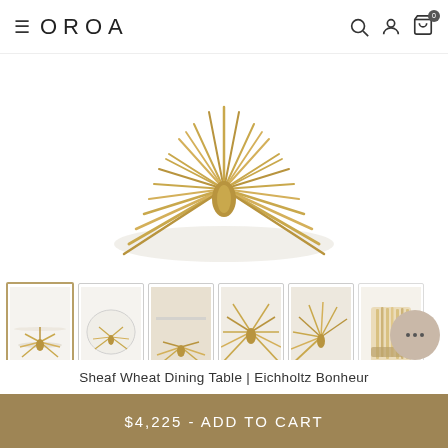OROA
[Figure (photo): Close-up top view of the Sheaf Wheat Dining Table base showing gold wheat sheaf metalwork fanning out in a starburst/sun pattern]
[Figure (photo): Thumbnail 1 (selected): Full view of gold wheat sheaf dining table with round glass top]
[Figure (photo): Thumbnail 2: Top-down view of the round glass top on the gold wheat sheaf base]
[Figure (photo): Thumbnail 3: Side angle showing glass tabletop edge and golden wheat stalks]
[Figure (photo): Thumbnail 4: Close view of the golden wheat sheaf sunburst base]
[Figure (photo): Thumbnail 5: Side view of wheat sheaf base fanning stalks]
[Figure (photo): Thumbnail 6: Close-up of the wrapped/bound middle section of the wheat sheaf]
Sheaf Wheat Dining Table | Eichholtz Bonheur
$4,225 - ADD TO CART